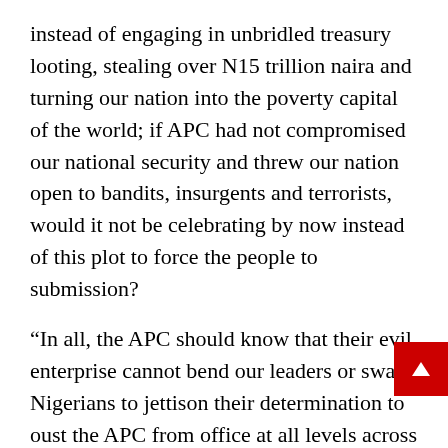instead of engaging in unbridled treasury looting, stealing over N15 trillion naira and turning our nation into the poverty capital of the world; if APC had not compromised our national security and threw our nation open to bandits, insurgents and terrorists, would it not be celebrating by now instead of this plot to force the people to submission?
“In all, the APC should know that their evil enterprise cannot bend our leaders or sway Nigerians to jettison their determination to oust the APC from office at all levels across the country, come 2023.
Nigerians already know that they are saddled with a “failed President” and his “failed APC” for the remaining of his second and final term which will